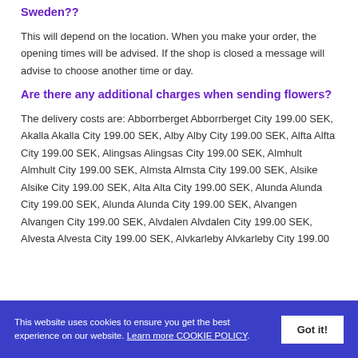Sweden??
This will depend on the location. When you make your order, the opening times will be advised. If the shop is closed a message will advise to choose another time or day.
Are there any additional charges when sending flowers?
The delivery costs are: Abborrberget Abborrberget City 199.00 SEK, Akalla Akalla City 199.00 SEK, Alby Alby City 199.00 SEK, Alfta Alfta City 199.00 SEK, Alingsas Alingsas City 199.00 SEK, Almhult Almhult City 199.00 SEK, Almsta Almsta City 199.00 SEK, Alsike Alsike City 199.00 SEK, Alta Alta City 199.00 SEK, Alunda Alunda City 199.00 SEK, Alunda Alunda City 199.00 SEK, Alvangen Alvangen City 199.00 SEK, Alvdalen Alvdalen City 199.00 SEK, Alvesta Alvesta City 199.00 SEK, Alvkarleby Alvkarleby City 199.00
This website uses cookies to ensure you get the best experience on our website. Learn more COOKIE POLICY.